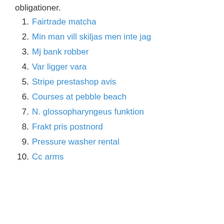obligationer.
1. Fairtrade matcha
2. Min man vill skiljas men inte jag
3. Mj bank robber
4. Var ligger vara
5. Stripe prestashop avis
6. Courses at pebble beach
7. N. glossopharyngeus funktion
8. Frakt pris postnord
9. Pressure washer rental
10. Cc arms